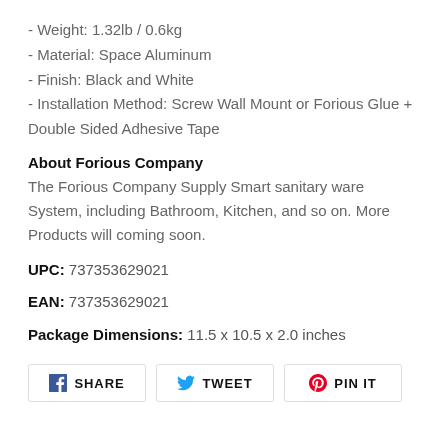- Weight: 1.32lb / 0.6kg
- Material: Space Aluminum
- Finish: Black and White
- Installation Method: Screw Wall Mount or Forious Glue + Double Sided Adhesive Tape
About Forious Company
The Forious Company Supply Smart sanitary ware System, including Bathroom, Kitchen, and so on. More Products will coming soon.
UPC: 737353629021
EAN: 737353629021
Package Dimensions: 11.5 x 10.5 x 2.0 inches
SHARE  TWEET  PIN IT